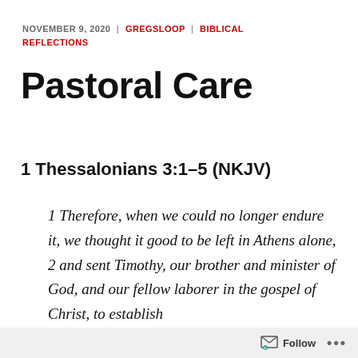NOVEMBER 9, 2020 | GREGSLOOP | BIBLICAL REFLECTIONS
Pastoral Care
1 Thessalonians 3:1–5 (NKJV)
1 Therefore, when we could no longer endure it, we thought it good to be left in Athens alone, 2 and sent Timothy, our brother and minister of God, and our fellow laborer in the gospel of Christ, to establish
Follow